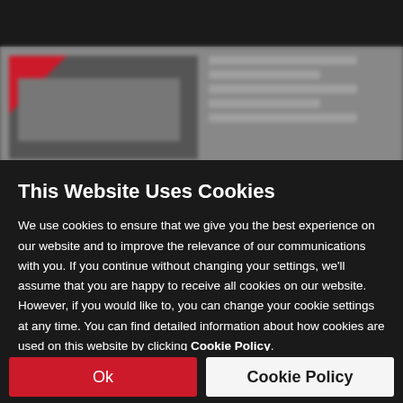[Figure (screenshot): Blurred background showing a website with dark navigation bar and blurred content area with thumbnail image]
This Website Uses Cookies
We use cookies to ensure that we give you the best experience on our website and to improve the relevance of our communications with you. If you continue without changing your settings, we'll assume that you are happy to receive all cookies on our website. However, if you would like to, you can change your cookie settings at any time. You can find detailed information about how cookies are used on this website by clicking Cookie Policy.
Ok
Cookie Policy